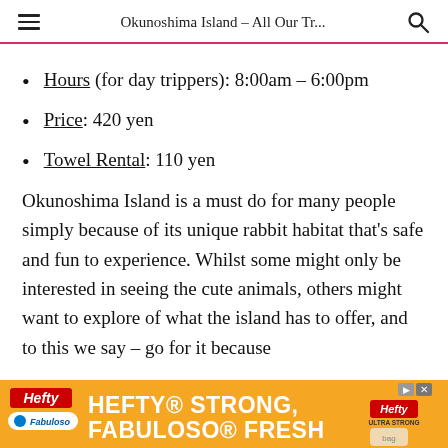Okunoshima Island – All Our Tr...
Hours (for day trippers): 8:00am – 6:00pm
Price: 420 yen
Towel Rental: 110 yen
Okunoshima Island is a must do for many people simply because of its unique rabbit habitat that's safe and fun to experience. Whilst some might only be interested in seeing the cute animals, others might want to explore of what the island has to offer, and to this we say – go for it because
[Figure (screenshot): Hefty advertisement banner: orange background with 'HEFTY STRONG, FABULOSO FRESH' text in white bold lettering, Hefty and Fabuloso logos, product image on right]